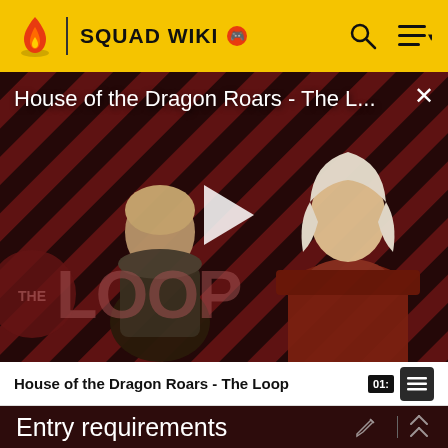SQUAD WIKI
[Figure (screenshot): Video thumbnail for 'House of the Dragon Roars - The L...' showing two characters with a diagonal red and black striped background, THE LOOP logo overlay, and a play button in the center]
House of the Dragon Roars - The L...
House of the Dragon Roars - The Loop
Entry requirements
You want to become a member of Squad Wiki Editorial,